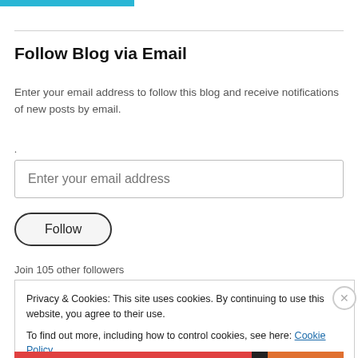[Figure (other): Teal/blue banner button at top left]
Follow Blog via Email
Enter your email address to follow this blog and receive notifications of new posts by email.
Enter your email address (input field placeholder)
Follow (button)
Join 105 other followers
Privacy & Cookies: This site uses cookies. By continuing to use this website, you agree to their use. To find out more, including how to control cookies, see here: Cookie Policy
Close and accept